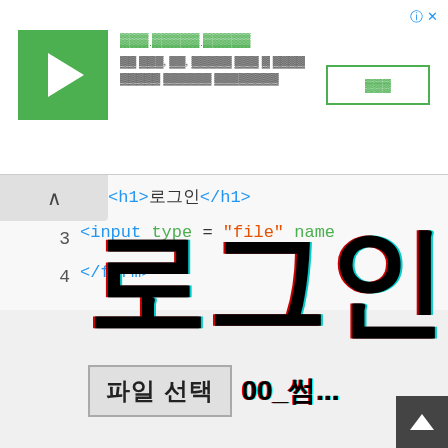[Figure (screenshot): Ad banner with green play button icon, Korean title text, description text, and a green-bordered button]
<h1>로그인</h1>
<input type = "file" name
</form>
로그인
파일 선택  00_썸...